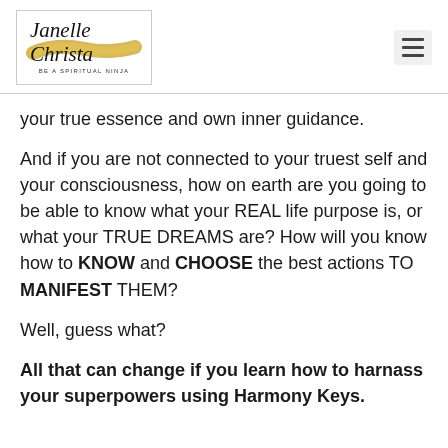Janelle Christa — BE A SPIRITUAL NINJA
your true essence and own inner guidance.
And if you are not connected to your truest self and your consciousness, how on earth are you going to be able to know what your REAL life purpose is, or what your TRUE DREAMS are? How will you know how to KNOW and CHOOSE the best actions TO MANIFEST THEM?
Well, guess what?
All that can change if you learn how to harnass your superpowers using Harmony Keys.